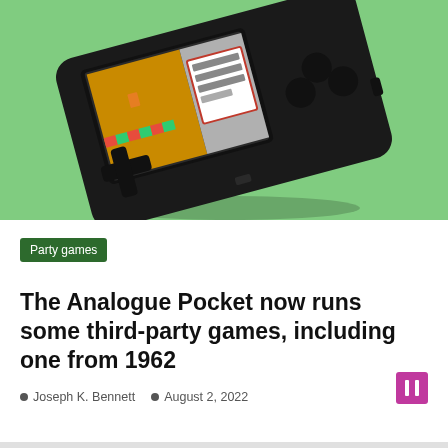[Figure (photo): Black Analogue Pocket handheld gaming device tilted at an angle showing a Game Boy-style game on screen, against a light green background]
Party games
The Analogue Pocket now runs some third-party games, including one from 1962
Joseph K. Bennett  August 2, 2022